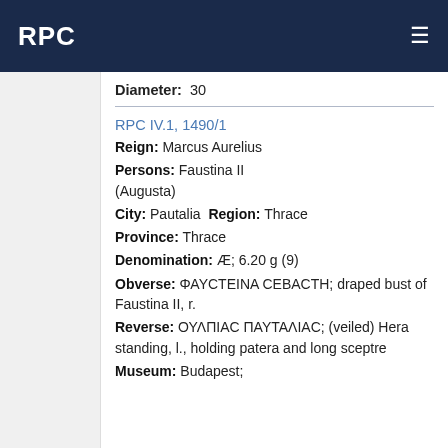RPC
Diameter: 30
RPC IV.1, 1490/1
Reign: Marcus Aurelius
Persons: Faustina II (Augusta)
City: Pautalia  Region: Thrace
Province: Thrace
Denomination: Æ; 6.20 g (9)
Obverse: ΦΑΥCΤΕΙΝΑ CΕΒΑCΤΗ; draped bust of Faustina II, r.
Reverse: ΟΥΛΠΙΑC ΠΑΥΤΑΛΙΑC; (veiled) Hera standing, l., holding patera and long sceptre
Museum: Budapest;